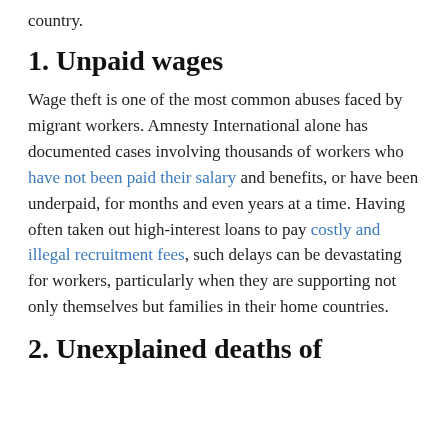country.
1. Unpaid wages
Wage theft is one of the most common abuses faced by migrant workers. Amnesty International alone has documented cases involving thousands of workers who have not been paid their salary and benefits, or have been underpaid, for months and even years at a time. Having often taken out high-interest loans to pay costly and illegal recruitment fees, such delays can be devastating for workers, particularly when they are supporting not only themselves but families in their home countries.
2. Unexplained deaths of